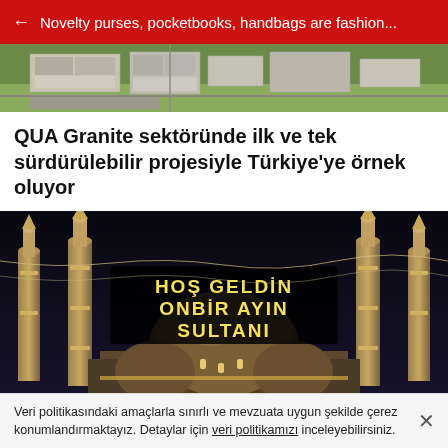← Novelty purses, pocketbooks, handbags are fashion...
[Figure (photo): Aerial view of industrial or commercial buildings and grounds]
QUA Granite sektöründe ilk ve tek sürdürülebilir projesiyle Türkiye'ye örnek oluyor
[Figure (photo): Night-time photo of a mosque (Blue Mosque, Istanbul) decorated with illuminated signs reading 'HOŞ GELDİN ONBİR AYIN SULTANI']
Veri politikasındaki amaçlarla sınırlı ve mevzuata uygun şekilde çerez konumlandırmaktayız. Detaylar için veri politikamızı inceleyebilirsiniz.